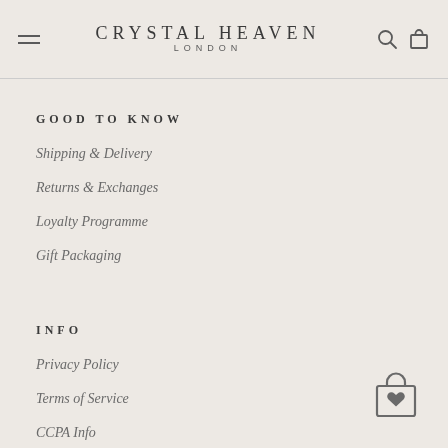CRYSTAL HEAVEN LONDON
GOOD TO KNOW
Shipping & Delivery
Returns & Exchanges
Loyalty Programme
Gift Packaging
INFO
Privacy Policy
Terms of Service
CCPA Info
[Figure (illustration): Shopping bag icon with a heart symbol, dark gray color]